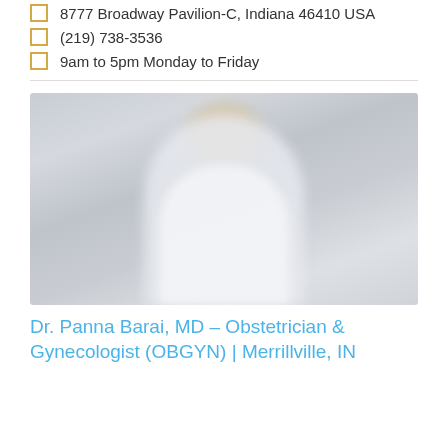8777 Broadway Pavilion-C, Indiana 46410 USA
(219) 738-3536
9am to 5pm Monday to Friday
[Figure (photo): Blurred photo of a female doctor in a white coat with a stethoscope, smiling, light grey background]
Dr. Panna Barai, MD – Obstetrician & Gynecologist (OBGYN) | Merrillville, IN